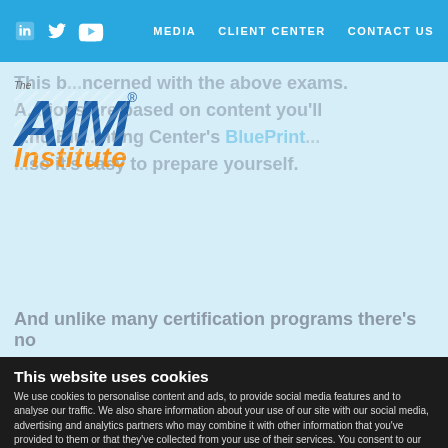MEDIA   CLIENT CENTER   CONTACT US
[Figure (logo): The AIM Institute logo with blue stylized AIM letters and orange italic Institute text]
This b... ncerned with the above exams. A... tions are based on content you'll ...nd Blu...nting Center's BluePrint... ...so it's easy to prepare yourself. And unlike many certification programs there's no
This website uses cookies
We use cookies to personalise content and ads, to provide social media features and to analyse our traffic. We also share information about your use of our site with our social media, advertising and analytics partners who may combine it with other information that you've provided to them or that they've collected from your use of their services. You consent to our cookies if you continue to use our website.
OK
Necessary   Preferences   Statistics   Marketing   Show details